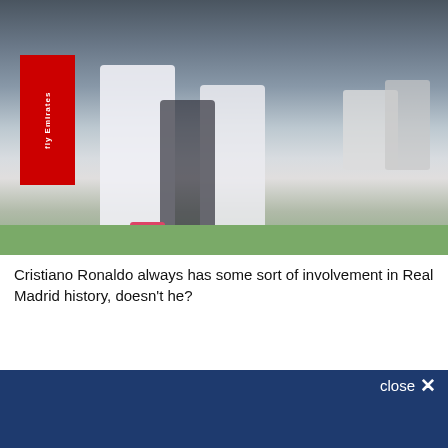[Figure (photo): Soccer players in white Real Madrid uniforms standing on a field. Emirates advertising board visible on the left. Crowd and chairs visible in the background.]
Cristiano Ronaldo always has some sort of involvement in Real Madrid history, doesn't he?
close ×
Sign up for the Managing Madrid Daily Roundup newsletter!
A daily roundup of Real Madrid news from Managing Madrid
Email (required)
By submitting your email, you agree to our Terms and Privacy Notice. You can opt out at any time. This site is protected by reCAPTCHA and the Google Privacy Policy and Terms of Service apply.